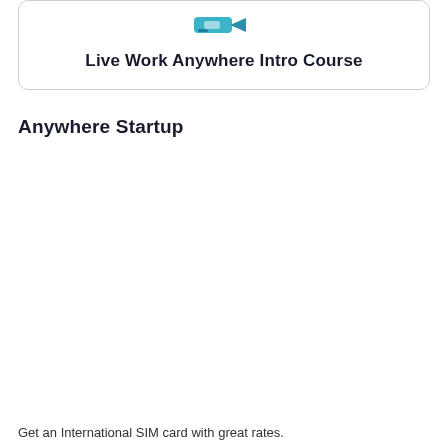[Figure (screenshot): A card with a logo at the top and bold title text 'Live Work Anywhere Intro Course' inside a rounded rectangle card border]
Anywhere Startup
Get an International SIM card with great rates.